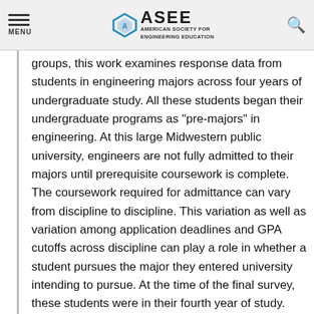MENU | ASEE AMERICAN SOCIETY FOR ENGINEERING EDUCATION
groups, this work examines response data from students in engineering majors across four years of undergraduate study. All these students began their undergraduate programs as “pre-majors” in engineering. At this large Midwestern public university, engineers are not fully admitted to their majors until prerequisite coursework is complete. The coursework required for admittance can vary from discipline to discipline. This variation as well as variation among application deadlines and GPA cutoffs across discipline can play a role in whether a student pursues the major they entered university intending to pursue. At the time of the final survey, these students were in their fourth year of study. These students throughout the four years chose a variety of paths; some stayed in the same concentration of engineering from pre-major to graduation, and some left engineering altogether.